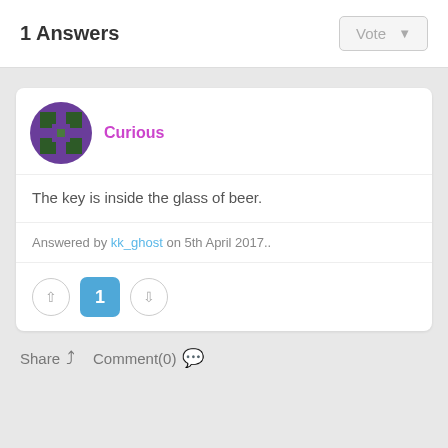1 Answers
Vote
Curious
The key is inside the glass of beer.
Answered by kk_ghost on 5th April 2017..
1
Share  Comment(0)